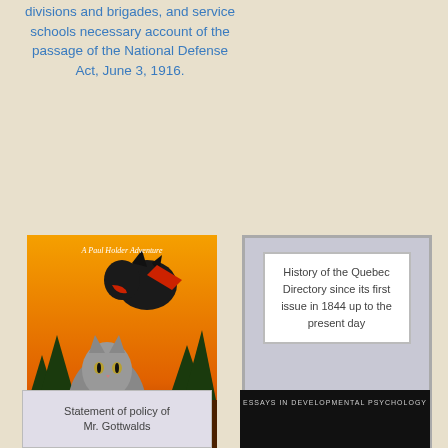divisions and brigades, and service schools necessary account of the passage of the National Defense Act, June 3, 1916.
[Figure (illustration): Book cover of 'Terror in the Steel Mountains' by Gerald Roe - A Paul Holder Adventure, showing a dog and cat with dramatic background]
Terror in the Steel Mountains
[Figure (illustration): Plain gray book cover placeholder with text: History of the Quebec Directory since its first issue in 1844 up to the present day]
History of the Quebec Directory since its first issue in 1844 up to the present day
[Figure (illustration): Light gray book cover placeholder with text: Statement of policy of Mr. Gottwalds]
[Figure (illustration): Black book cover with text: Essays in Developmental Psychology]